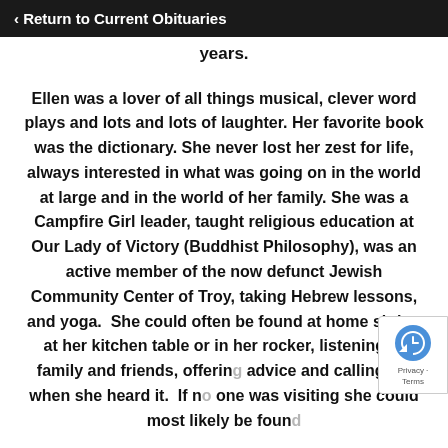‹ Return to Current Obituaries
years.
Ellen was a lover of all things musical, clever word plays and lots and lots of laughter. Her favorite book was the dictionary. She never lost her zest for life, always interested in what was going on in the world at large and in the world of her family. She was a Campfire Girl leader, taught religious education at Our Lady of Victory (Buddhist Philosophy), was an active member of the now defunct Jewish Community Center of Troy, taking Hebrew lessons, and yoga.  She could often be found at home sitting at her kitchen table or in her rocker, listening to family and friends, offering advice and calling BS when she heard it.  If no one was visiting she could most likely be found